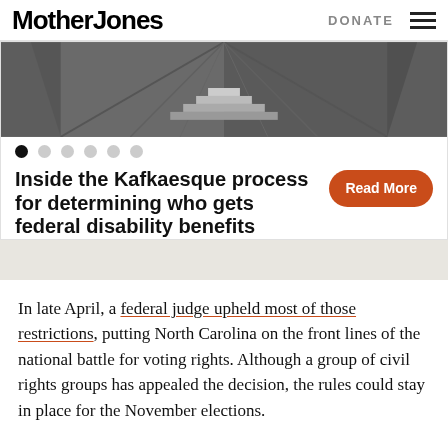Mother Jones | DONATE
[Figure (photo): Looking up at stone/concrete architectural structure with steps and geometric ceiling]
Inside the Kafkaesque process for determining who gets federal disability benefits
In late April, a federal judge upheld most of those restrictions, putting North Carolina on the front lines of the national battle for voting rights. Although a group of civil rights groups has appealed the decision, the rules could stay in place for the November elections.